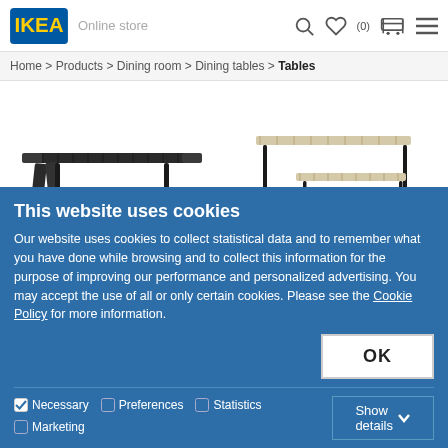IKEA — Home > Products > Dining room > Dining tables > Tables
[Figure (photo): Dark folding dining table on black legs]
[Figure (photo): Nesting tables set — light birch tops on black legs, three sizes]
This website uses cookies
Our website uses cookies to collect statistical data and to remember what you have done while browsing and to collect this information for the purpose of improving our performance and personalized advertising. You may accept the use of all or only certain cookies. Please see the Cookie Policy for more information.
OK
Necessary   Preferences   Statistics   Marketing   Show details